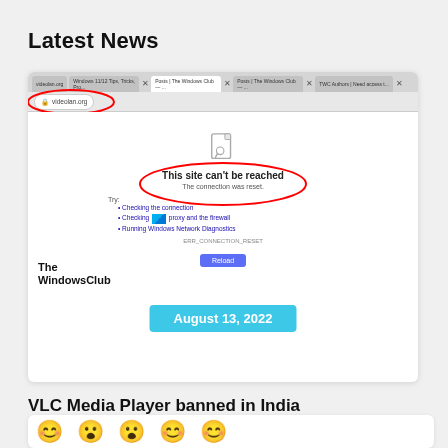Latest News
[Figure (screenshot): Browser screenshot showing videolan.org giving 'This site can't be reached' error. The connection was reset. The WindowsClub logo is overlaid. Date badge shows August 13, 2022.]
VLC Media Player banned in India
[Figure (photo): Bottom card with emoji icons partially visible]